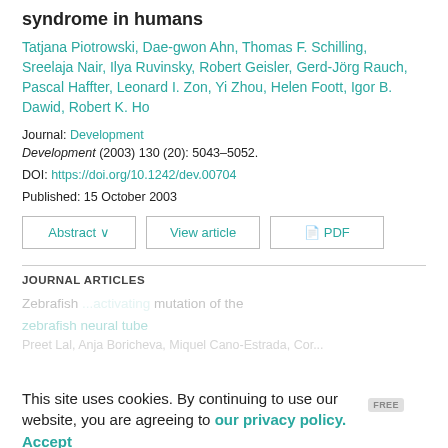syndrome in humans
Tatjana Piotrowski, Dae-gwon Ahn, Thomas F. Schilling, Sreelaja Nair, Ilya Ruvinsky, Robert Geisler, Gerd-Jörg Rauch, Pascal Haffter, Leonard I. Zon, Yi Zhou, Helen Foott, Igor B. Dawid, Robert K. Ho
Journal: Development
Development (2003) 130 (20): 5043–5052.
DOI: https://doi.org/10.1242/dev.00704
Published: 15 October 2003
JOURNAL ARTICLES
This site uses cookies. By continuing to use our website, you are agreeing to our privacy policy. Accept